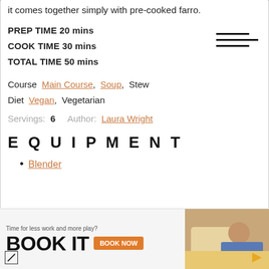it comes together simply with pre-cooked farro.
PREP TIME 20 mins
COOK TIME 30 mins
TOTAL TIME 50 mins
Course Main Course, Soup, Stew
Diet Vegan, Vegetarian
Servings: 6    Author: Laura Wright
EQUIPMENT
Blender
[Figure (screenshot): Advertisement banner: 'Time for less work and more play? BOOK IT' with BOOK NOW button and photo of person on couch]